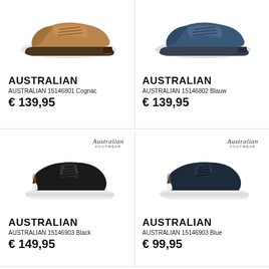[Figure (photo): Brown leather dress shoe (Oxford style) - AUSTRALIAN 15146801 Cognac]
AUSTRALIAN
AUSTRALIAN 15146801 Cognac
€ 139,95
[Figure (photo): Blue leather dress shoe (Oxford style) - AUSTRALIAN 15146802 Blauw]
AUSTRALIAN
AUSTRALIAN 15146802 Blauw
€ 139,95
[Figure (photo): Black sneaker with white sole and Australian Footwear logo - AUSTRALIAN 15146903 Black]
AUSTRALIAN
AUSTRALIAN 15146903 Black
€ 149,95
[Figure (photo): Blue/dark sneaker with white sole and Australian Footwear logo - AUSTRALIAN 15146903 Blue]
AUSTRALIAN
AUSTRALIAN 15146903 Blue
€ 99,95